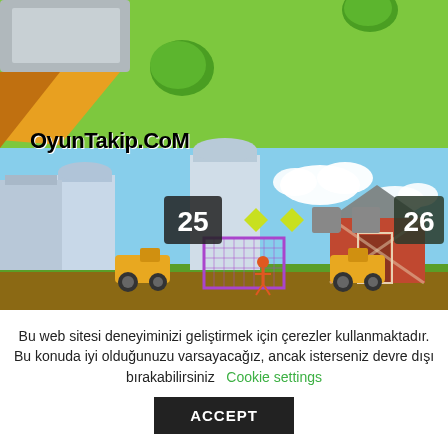[Figure (screenshot): A mobile/browser game screenshot showing a 3D farm-style environment. The top half has a green overhead-view area with trees and a gray road/structure with an orange ramp. The bottom half shows a side-scrolling farm scene with grain silos, a red barn, yellow tractors, a soccer goal with a character, and a progress bar showing '25' on the left and '26' on the right with diamond/square indicator icons. A watermark 'OyunTakip.CoM' is visible in bold black text.]
Bu web sitesi deneyiminizi geliştirmek için çerezler kullanmaktadır. Bu konuda iyi olduğunuzu varsayacağız, ancak isterseniz devre dışı bırakabilirsiniz   Cookie settings
ACCEPT